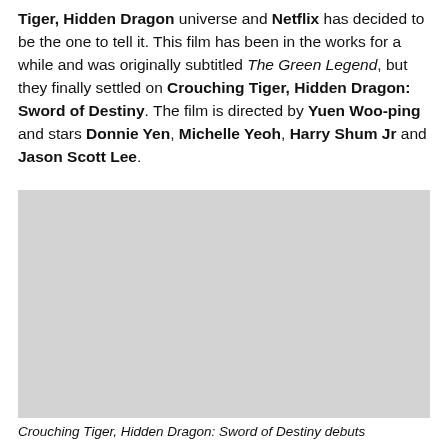Tiger, Hidden Dragon universe and Netflix has decided to be the one to tell it. This film has been in the works for a while and was originally subtitled The Green Legend, but they finally settled on Crouching Tiger, Hidden Dragon: Sword of Destiny. The film is directed by Yuen Woo-ping and stars Donnie Yen, Michelle Yeoh, Harry Shum Jr and Jason Scott Lee.
[Figure (photo): A large light gray placeholder image rectangle representing a photo related to Crouching Tiger, Hidden Dragon: Sword of Destiny.]
Crouching Tiger, Hidden Dragon: Sword of Destiny debuts